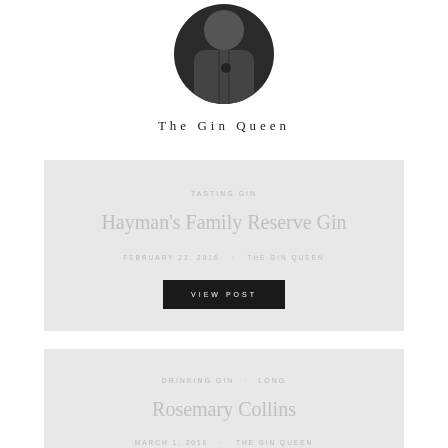[Figure (photo): Circular cropped black and white profile photo of a person]
The Gin Queen
TASTING GIN
Hayman's Family Reserve Gin
FEBRUARY 23, 2016  THE GIN QUEEN
VIEW POST
DRINKING GIN  LONG
Rosemary Collins
MARCH 1, 2016  THE GIN QUEEN